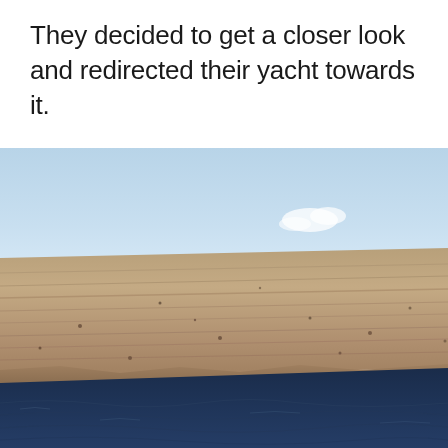They decided to get a closer look and redirected their yacht towards it.
[Figure (photo): A photograph taken from a boat showing a large mass of floating pumice or algae/debris in the ocean, appearing as a flat brown/tan expanse on the water surface, with dark blue ocean water in the foreground and a pale blue sky with a few clouds in the background.]